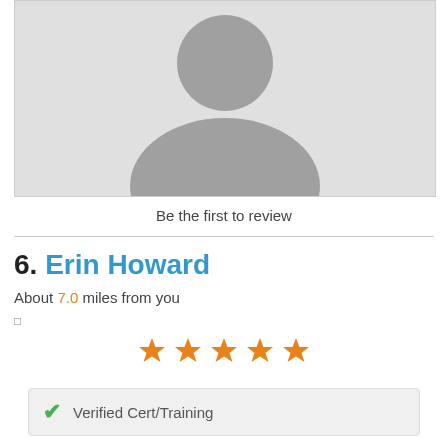[Figure (photo): Default placeholder profile avatar silhouette on light gray background]
Be the first to review
6. Erin Howard
About 7.0 miles from you
[Figure (other): Five orange star rating icons]
Verified Cert/Training